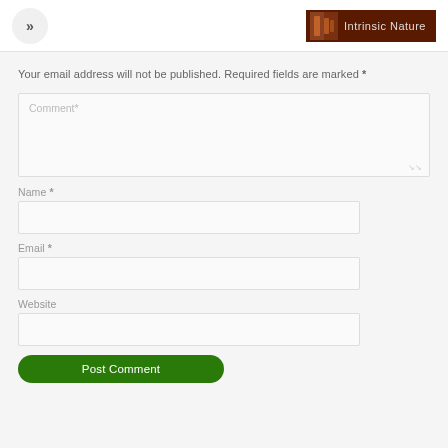>> | Intrinsic Nature
Your email address will not be published. Required fields are marked *
Comment*
Name *
Email *
Website
Post Comment